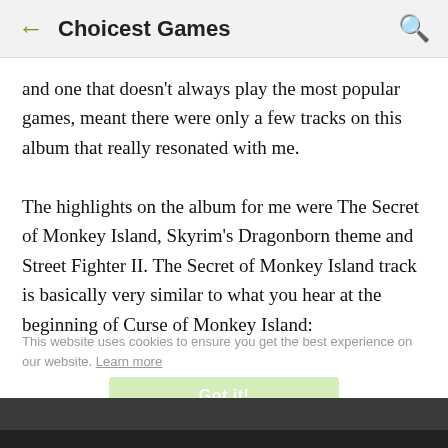← Choicest Games 🔍
and one that doesn't always play the most popular games, meant there were only a few tracks on this album that really resonated with me.

The highlights on the album for me were The Secret of Monkey Island, Skyrim's Dragonborn theme and Street Fighter II. The Secret of Monkey Island track is basically very similar to what you hear at the beginning of Curse of Monkey Island:
This website uses cookies to ensure you get the best experience on our website. Learn more
Got it!
[Figure (screenshot): Dark gray/black bottom bar of a mobile browser or app interface]